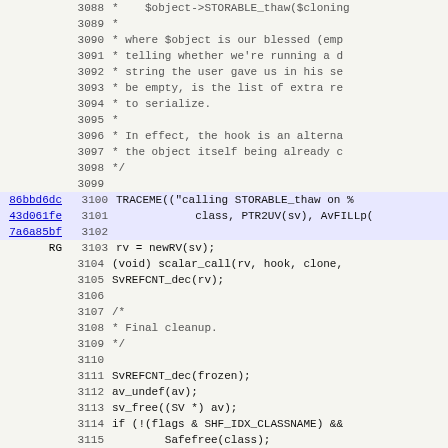[Figure (screenshot): Source code viewer showing C/Perl code lines 3088-3119 with line numbers, commit hashes as blue hyperlinks, and code content in monospace font on a light gray background]